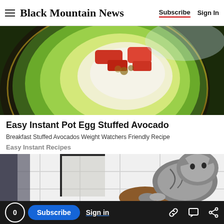Black Mountain News — Subscribe  Sign In
[Figure (photo): Close-up overhead photo of a sliced avocado with egg and tomato filling, vibrant green avocado flesh and dark skin visible]
Easy Instant Pot Egg Stuffed Avocado
Breakfast Stuffed Avocados Weight Watchers Friendly Recipe
Easy Instant Recipes
[Figure (photo): Man smiling in a bathroom with a cat on his shoulder/head area, white tile wall background, mirror reflection visible]
0  Subscribe  Sign in